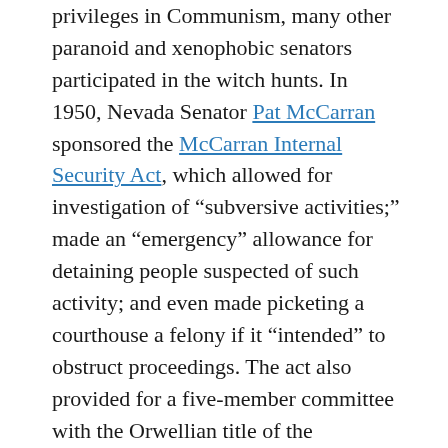...privileges in Communism, many other paranoid and xenophobic senators participated in the witch hunts. In 1950, Nevada Senator Pat McCarran sponsored the McCarran Internal Security Act, which allowed for investigation of “subversive activities;” made an “emergency” allowance for detaining people suspected of such activity; and even made picketing a courthouse a felony if it “intended” to obstruct proceedings. The act also provided for a five-member committee with the Orwellian title of the Subversive Activities Control Board (SACB), which was headed by McCarran and tasked with rooting out communists, communist-sympathizers, and other “subversives.” The SACB, or the McCarran Committee as it was more commonly called, went to work